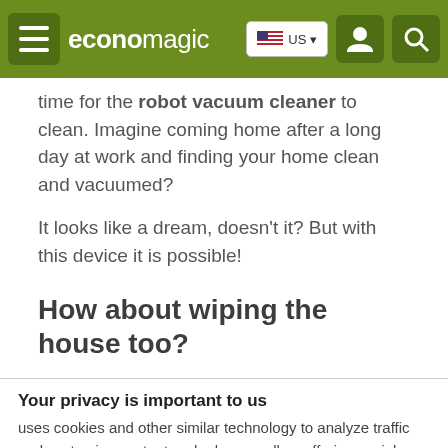economagic | US
time for the robot vacuum cleaner to clean. Imagine coming home after a long day at work and finding your home clean and vacuumed?
It looks like a dream, doesn't it? But with this device it is possible!
How about wiping the house too?
Your privacy is important to us
uses cookies and other similar technology to analyze traffic and customize content and ads, as well as offering social networking resources. Get more information
Acept